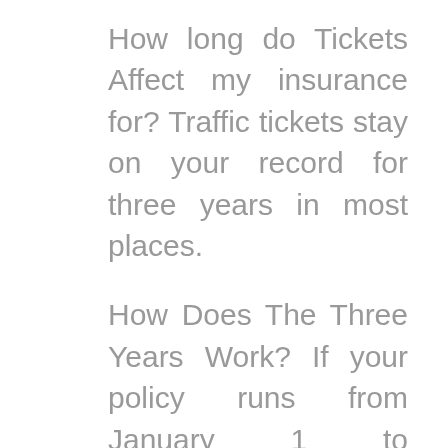How long do Tickets Affect my insurance for? Traffic tickets stay on your record for three years in most places.
How Does The Three Years Work? If your policy runs from January 1 to December 31 and you get a ticket in June, your rates will be affected at the next renewal of January 1. So if your ticket was June 1, 2009, your rates would be affected from January 1, 2010 until January 1, 2013. Note: Some carriers would increase your rates immediately if discovered.
When you get a traffic ticket do insurance